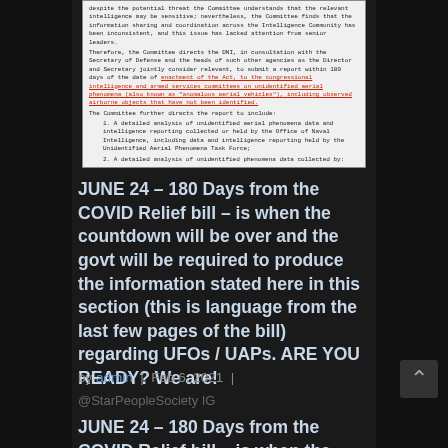[Figure (screenshot): Screenshot of a government document (COVID Relief bill) with text about the DNI submitting a report on unidentified aerial phenomena. Certain text is highlighted/underlined in red/orange.]
JUNE 24 – 180 Days from the COVID Relief bill – is when the countdown will be over and the govt will be required to produce the information stated here in this section (this is language from the last few pages of the bill) regarding UFOs / UAPs. ARE YOU READY? We are!
by admin | Feb 6, 2021 |
@StarPeopleSociety IG
JUNE 24 – 180 Days from the COVID Relief bill – is when the countdown will be over and the govt will be required to